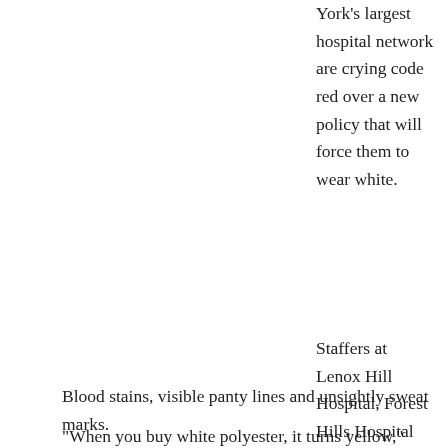York's largest hospital network are crying code red over a new policy that will force them to wear white.
Staffers at Lenox Hill Hospital, Forest Hills Hospital and the rest of the North Shore LIJ Health System fear their new white scrubs will lead to a terrible trifecta of problems:
Blood stains, visible panty lines and unsightly sweat marks.
"When you buy white polyester, it turns yellow," said Patricia Kone, a